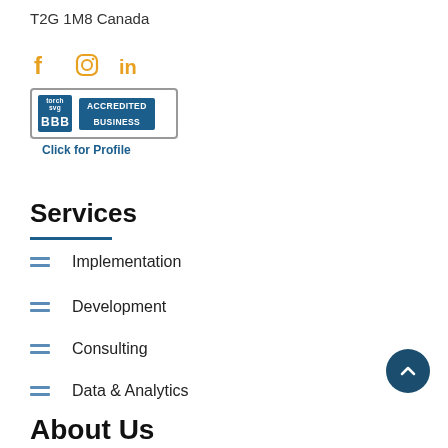T2G 1M8 Canada
[Figure (illustration): Social media icons: Facebook (f), Instagram (circle camera icon), LinkedIn (in) in gold/yellow color]
[Figure (logo): BBB Accredited Business badge with Click for Profile link below]
Services
Implementation
Development
Consulting
Data & Analytics
Training/Enablement
Support
About Us